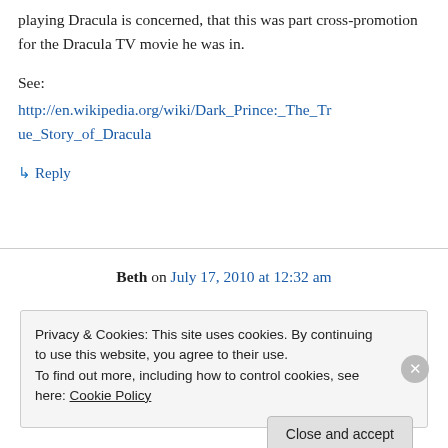playing Dracula is concerned, that this was part cross-promotion for the Dracula TV movie he was in.
See:
http://en.wikipedia.org/wiki/Dark_Prince:_The_True_Story_of_Dracula
↳ Reply
Beth on July 17, 2010 at 12:32 am
Privacy & Cookies: This site uses cookies. By continuing to use this website, you agree to their use. To find out more, including how to control cookies, see here: Cookie Policy
Close and accept